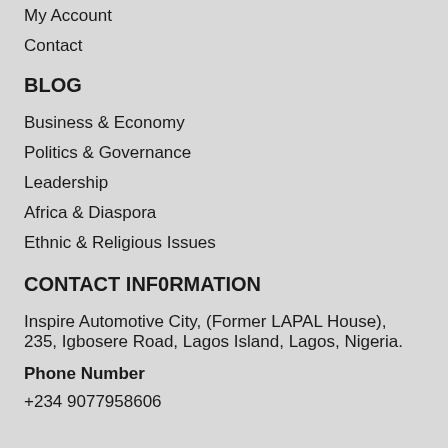My Account
Contact
BLOG
Business & Economy
Politics & Governance
Leadership
Africa & Diaspora
Ethnic & Religious Issues
CONTACT INF0RMATION
Inspire Automotive City, (Former LAPAL House), 235, Igbosere Road, Lagos Island, Lagos, Nigeria.
Phone Number
+234 9077958606